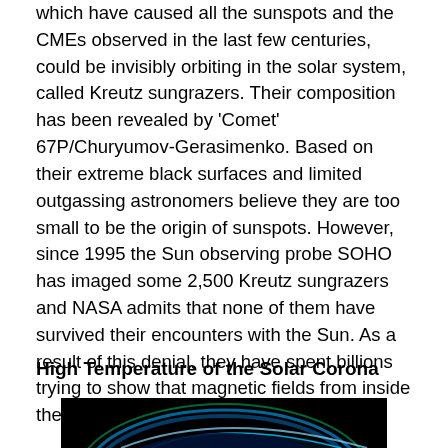which have caused all the sunspots and the CMEs observed in the last few centuries, could be invisibly orbiting in the solar system, called Kreutz sungrazers. Their composition has been revealed by 'Comet' 67P/Churyumov-Gerasimenko. Based on their extreme black surfaces and limited outgassing astronomers believe they are too small to be the origin of sunspots. However, since 1995 the Sun observing probe SOHO has imaged some 2,500 Kreutz sungrazers and NASA admits that none of them have survived their encounters with the Sun. As a result of this denial, they have spent billions trying to show that magnetic fields from inside the Sun are the origin of Sun Spots.
High Temperature of the Solar Corona
[Figure (photo): Photo of the solar corona showing a glowing arc of light against a black background, with blue and green tones visible along the solar limb.]